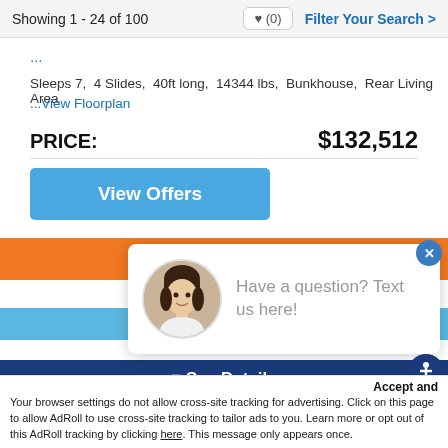Showing 1 - 24 of 100  ♥ (0)  Filter Your Search >
Sleeps 7,  4 Slides,  40ft long,  14344 lbs,  Bunkhouse,  Rear Living Area
...View Floorplan
PRICE:  $132,512
[Figure (screenshot): Blue 'View Offers' button]
[Figure (infographic): Advertisement banner with orange, white, light blue, and dark blue horizontal stripes. Dark blue bar at bottom contains '≡ See Details' in white text.]
[Figure (photo): Chat popup card with circular photo of smiling woman and text 'Have a question? Text us here!']
Accept and
Your browser settings do not allow cross-site tracking for advertising. Click on this page to allow AdRoll to use cross-site tracking to tailor ads to you. Learn more or opt out of this AdRoll tracking by clicking here. This message only appears once.